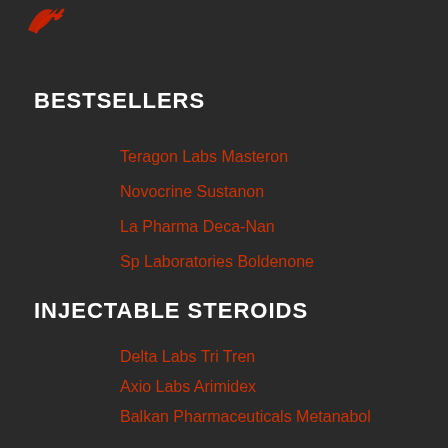[Figure (logo): Red swoosh/flame logo in top-left corner]
BESTSELLERS
Teragon Labs Masteron
Novocrine Sustanon
La Pharma Deca-Nan
Sp Laboratories Boldenone
INJECTABLE STEROIDS
Delta Labs Tri Tren
Axio Labs Arimidex
Balkan Pharmaceuticals Metanabol
Mutant Gear Turinabol
ORAL STEROIDS
La Pharma Stan...